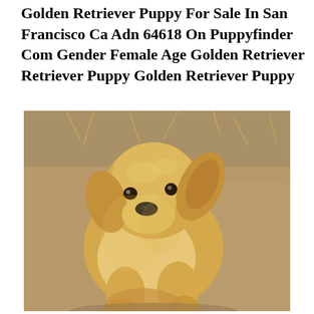Golden Retriever Puppy For Sale In San Francisco Ca Adn 64618 On Puppyfinder Com Gender Female Age Golden Retriever Retriever Puppy Golden Retriever Puppy
[Figure (photo): A Golden Retriever puppy photographed outdoors on dry ground with straw/hay visible. The puppy is looking slightly downward and to the left, with fluffy golden fur.]